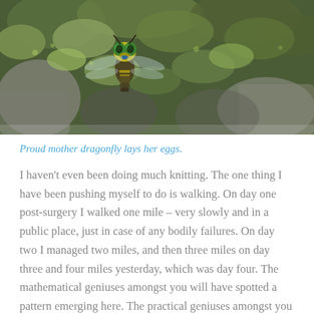[Figure (photo): A close-up photograph of a dragonfly on green moss and rocks. The dragonfly is positioned in the center-left area with large compound eyes visible, surrounded by lush green moss and rocky surfaces.]
Proud mother dragonfly lays her eggs.
I haven't even been doing much knitting. The one thing I have been pushing myself to do is walking. On day one post-surgery I walked one mile – very slowly and in a public place, just in case of any bodily failures. On day two I managed two miles, and then three miles on day three and four miles yesterday, which was day four. The mathematical geniuses amongst you will have spotted a pattern emerging here. The practical geniuses amongst you will have realized that this